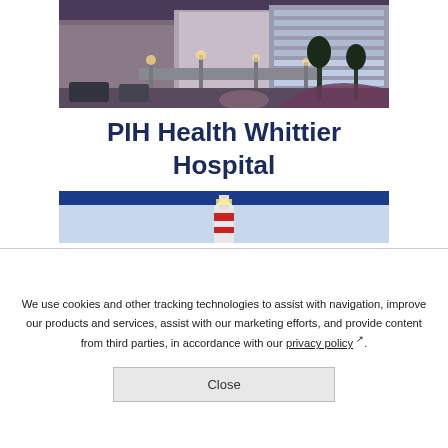[Figure (photo): Exterior evening photo of PIH Health Whittier Hospital building with illuminated entrance and palm trees]
PIH Health Whittier Hospital
[Figure (photo): Partial view of a second hospital or lighthouse related image with blue header band]
We use cookies and other tracking technologies to assist with navigation, improve our products and services, assist with our marketing efforts, and provide content from third parties, in accordance with our privacy policy.
Close